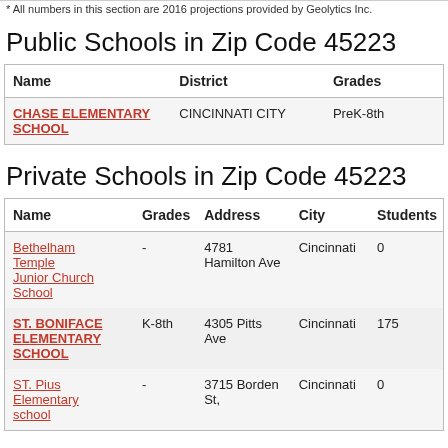* All numbers in this section are 2016 projections provided by Geolytics Inc.
Public Schools in Zip Code 45223
| Name | District | Grades |
| --- | --- | --- |
| CHASE ELEMENTARY SCHOOL | CINCINNATI CITY | PreK-8th |
Private Schools in Zip Code 45223
| Name | Grades | Address | City | Students |
| --- | --- | --- | --- | --- |
| Bethelham Temple Junior Church School | - | 4781 Hamilton Ave | Cincinnati | 0 |
| ST. BONIFACE ELEMENTARY SCHOOL | K-8th | 4305 Pitts Ave | Cincinnati | 175 |
| ST. Pius Elementary school | - | 3715 Borden St, | Cincinnati | 0 |